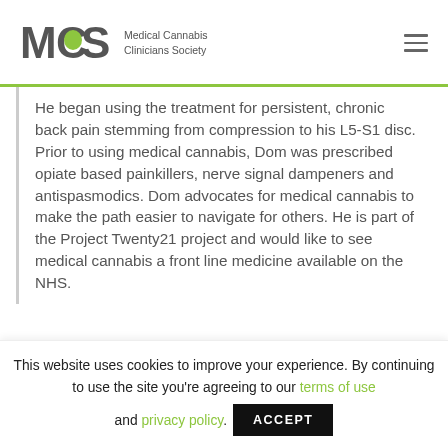Medical Cannabis Clinicians Society
He began using the treatment for persistent, chronic back pain stemming from compression to his L5-S1 disc. Prior to using medical cannabis, Dom was prescribed opiate based painkillers, nerve signal dampeners and antispasmodics. Dom advocates for medical cannabis to make the path easier to navigate for others. He is part of the Project Twenty21 project and would like to see medical cannabis a front line medicine available on the NHS.
This website uses cookies to improve your experience. By continuing to use the site you're agreeing to our terms of use and privacy policy.